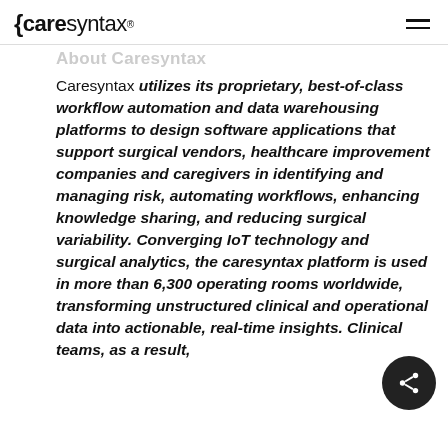{caresyntax®
About Caresyntax
Caresyntax utilizes its proprietary, best-of-class workflow automation and data warehousing platforms to design software applications that support surgical vendors, healthcare improvement companies and caregivers in identifying and managing risk, automating workflows, enhancing knowledge sharing, and reducing surgical variability. Converging IoT technology and surgical analytics, the caresyntax platform is used in more than 6,300 operating rooms worldwide, transforming unstructured clinical and operational data into actionable, real-time insights. Clinical teams, as a result,